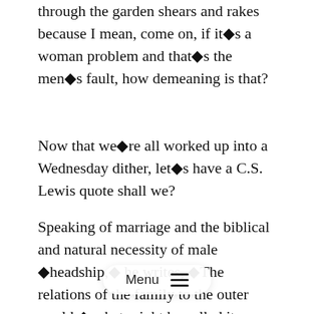through the garden shears and rakes because I mean, come on, if it◆s a woman problem and that◆s the men◆s fault, how demeaning is that?
Now that we◆re all worked up into a Wednesday dither, let◆s have a C.S. Lewis quote shall we?
Speaking of marriage and the biblical and natural necessity of male ◆headship,◆ he writes, ◆The relations of the family to the outer world ◆ what might be called its foreign policy ◆ must depend, in the last resort, upon the man, because he always ought to be, and usually is, much more just to outsiders. A woman is primarily fighting for her own children and husb… rest of the world. Naturally, almost, i… …ntly, their claims override, for her, all other claims. She is the special